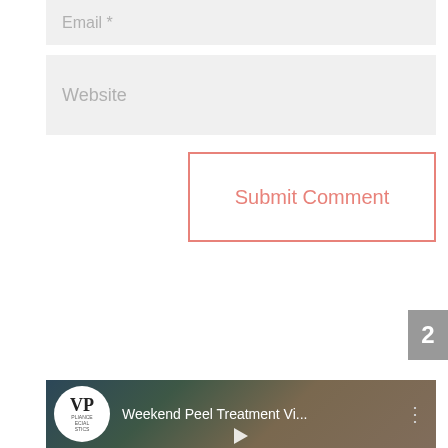Email *
Website
Submit Comment
2
[Figure (screenshot): Video thumbnail showing 'Weekend Peel Treatment Vi...' with a circular logo on the left and a person's face in the background]